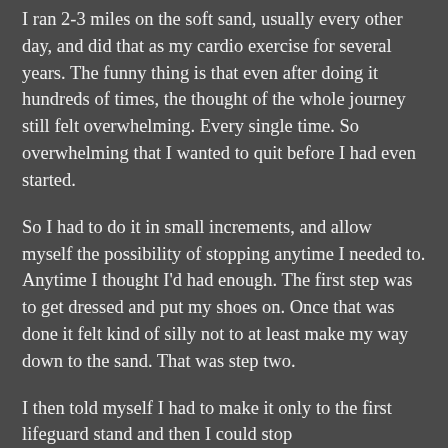I ran 2-3 miles on the soft sand, usually every other day, and did that as my cardio exercise for several years. The funny thing is that even after doing it hundreds of times, the thought of the whole journey still felt overwhelming. Every single time. So overwhelming that I wanted to quit before I had even started.
So I had to do it in small increments, and allow myself the possibility of stopping anytime I needed to. Anytime I thought I'd had enough. The first step was to get dressed and put my shoes on. Once that was done it felt kind of silly not to at least make my way down to the sand. That was step two.
I then told myself I had to make it only to the first lifeguard stand and then I could stop